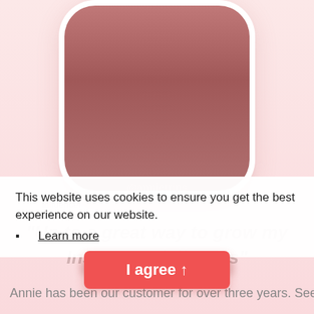[Figure (illustration): App icon with rounded rectangle shape, gradient from muted rose/mauve color, displayed on a light pink background with white card shadow beneath]
@annietrips
influencer
This website uses cookies to ensure you get the best experience on our website.
Learn more
"Up to a great way to grow my Instagram followers"
I agree ↑
Annie has been our customer for over three years. See